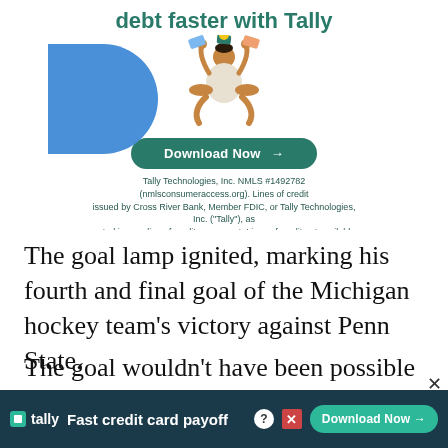[Figure (illustration): Tally advertisement banner. Heading 'debt faster with Tally' in green bold text. A cartoon illustration of a person sitting cross-legged juggling credit cards, with a blue quarter-circle shape on the left. A dark green 'Download Now →' button below the figure. Fine print disclaimer text: 'Tally Technologies, Inc. NMLS #1492782 (nmlsconsumeraccess.org). Lines of credit issued by Cross River Bank, Member FDIC, or Tally Technologies, Inc. ("Tally"), as noted in your line of credit agreement. Lines of credit not available in all states.']
The goal lamp ignited, marking his fourth and final goal of the Michigan hockey team's victory against Penn State.
The goal wouldn't have been possible without junior forward JT Compher. The Wolverines' captain was the first to fire on net, and
[Figure (illustration): Bottom sticky Tally advertisement bar with dark navy background. Tally logo on left, 'Fast credit card payoff' tagline, help icon, X close icon, and 'Download Now →' button on right.]